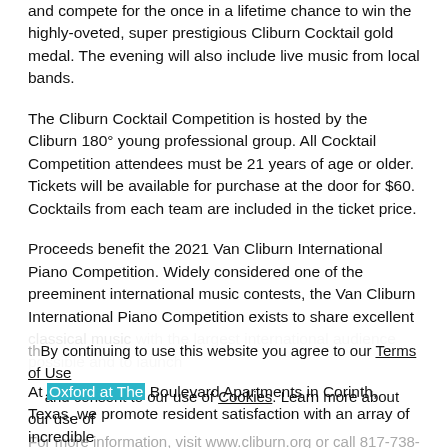and compete for the once in a lifetime chance to win the highly-oveted, super prestigious Cliburn Cocktail gold medal. The evening will also include live music from local bands.
The Cliburn Cocktail Competition is hosted by the Cliburn 180° young professional group. All Cocktail Competition attendees must be 21 years of age or older. Tickets will be available for purchase at the door for $60. Cocktails from each team are included in the ticket price.
Proceeds benefit the 2021 Van Cliburn International Piano Competition. Widely considered one of the preeminent international music contests, the Van Cliburn International Piano Competition exists to share excellent classical music with the largest international audience possible and to launch th...
For more information, visit www.cliburn.org or call 817-738-6536.
By continuing to use this website you agree to our Terms of Use and consent to our use of Cookies. Learn more about our use of cookies by viewing our Privacy Policy.
ACCEPT
At Oxford at The Boulevard Apartments in Corinth, Texas, we promote resident satisfaction with an array of incredible